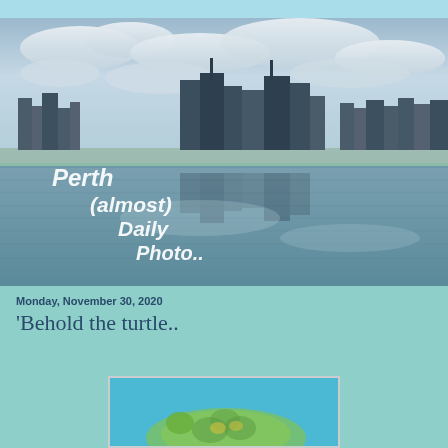[Figure (photo): Panoramic photo of the Perth city skyline reflected in calm water, with cloudy sky above. White italic text overlaid reads: Perth (almost) Daily Photo..]
Monday, November 30, 2020
'Behold the turtle..
[Figure (photo): Partial view of a mural or artwork depicting a turtle against a bright blue background, visible at the bottom of the page.]